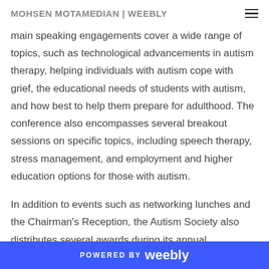MOHSEN MOTAMEDIAN | WEEBLY
main speaking engagements cover a wide range of topics, such as technological advancements in autism therapy, helping individuals with autism cope with grief, the educational needs of students with autism, and how best to help them prepare for adulthood. The conference also encompasses several breakout sessions on specific topics, including speech therapy, stress management, and employment and higher education options for those with autism.
In addition to events such as networking lunches and the Chairman's Reception, the Autism Society also distributes several awards during its annual conference. These
POWERED BY weebly